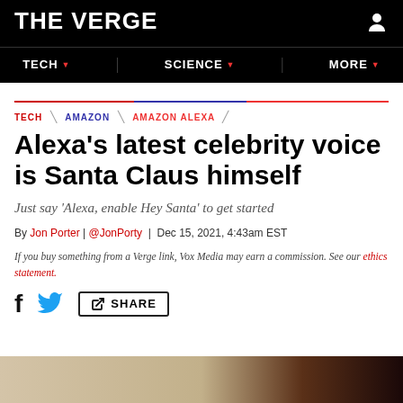THE VERGE
TECH   SCIENCE   MORE
TECH \ AMAZON \ AMAZON ALEXA
Alexa's latest celebrity voice is Santa Claus himself
Just say 'Alexa, enable Hey Santa' to get started
By Jon Porter | @JonPorty | Dec 15, 2021, 4:43am EST
If you buy something from a Verge link, Vox Media may earn a commission. See our ethics statement.
f  SHARE